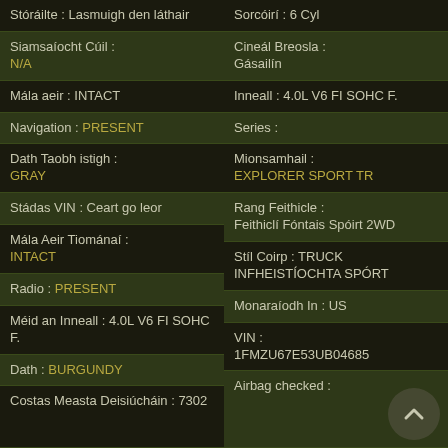Stóráilte : Lasmuigh den láthair
Sorcóirí : 6 Cyl
Siamsaíocht Cúil : N/A
Cineál Breosla : Gásailín
Mála aeir : INTACT
Inneall : 4.0L V6 FI SOHC F.
Navigation : PRESENT
Series :
Dath Taobh istigh : GRAY
Mionsamhail : EXPLORER SPORT TR
Stádas VIN : Ceart go leor
Rang Feithicle : Feithiclí Fóntais Spóirt 2WD
Mála Aeir Tiománaí : INTACT
Stíl Coirp : TRUCK INFHEISTÍOCHTA SPÓRT
Radio : PRESENT
Monaraíodh In : US
Méid an Inneall : 4.0L V6 FI SOHC F.
VIN : 1FMZU67E53UB04685
Dath : BURGUNDY
Airbag checked :
Costas Measta Deisiúcháin : 7302